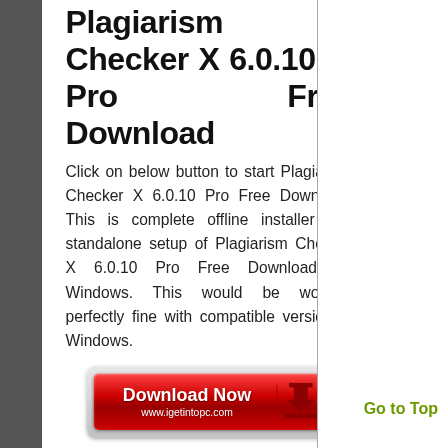Plagiarism Checker X 6.0.10 Pro Free Download
Click on below button to start Plagiarism Checker X 6.0.10 Pro Free Download. This is complete offline installer and standalone setup of Plagiarism Checker X 6.0.10 Pro Free Download for Windows. This would be working perfectly fine with compatible version of Windows.
[Figure (screenshot): Red Download Now button with www.igetintopc.com URL and download arrow icon]
Related Posts:
[Figure (screenshot): Plagiarism Checker X software box art with yellow and red X logo on blue sky background, IGetIntoPC.com branding]
Go to Top